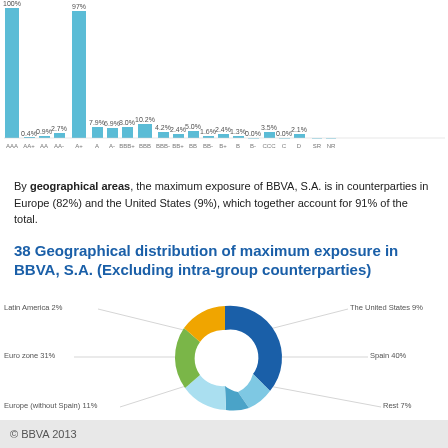[Figure (bar-chart): Rating distribution bar chart (partial)]
By geographical areas, the maximum exposure of BBVA, S.A. is in counterparties in Europe (82%) and the United States (9%), which together account for 91% of the total.
38 Geographical distribution of maximum exposure in BBVA, S.A. (Excluding intra-group counterparties)
[Figure (donut-chart): Geographical distribution of maximum exposure in BBVA, S.A.]
© BBVA 2013